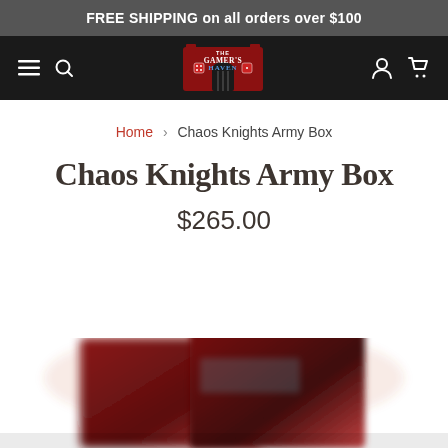FREE SHIPPING on all orders over $100
[Figure (logo): The Gamer's Haven logo — castle with red towers and game dice, on dark background navigation bar]
Home > Chaos Knights Army Box
Chaos Knights Army Box
$265.00
[Figure (photo): Blurred product image of Chaos Knights Army Box — red/dark box art partially visible at bottom of page]